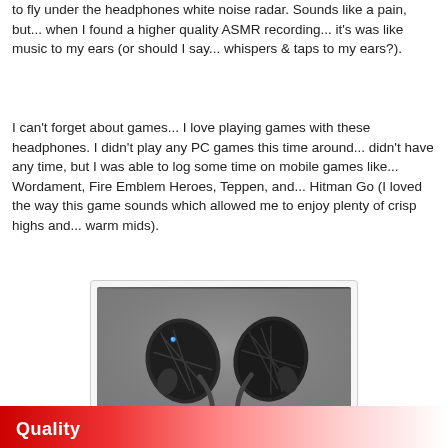to fly under the headphones white noise radar. Sounds like a pain, but... when I found a higher quality ASMR recording... it's was like music to my ears (or should I say... whispers & taps to my ears?).
I can't forget about games... I love playing games with these headphones. I didn't play any PC games this time around... didn't have any time, but I was able to log some time on mobile games like... Wordament, Fire Emblem Heroes, Teppen, and... Hitman Go (I loved the way this game sounds which allowed me to enjoy plenty of crisp highs and... warm mids).
[Figure (photo): Two black wireless earbuds facing each other on a gray surface. The left earbud has a blue LED light. Both earbuds have a diamond/faceted texture pattern on the outer shell with ear hooks.]
Quality